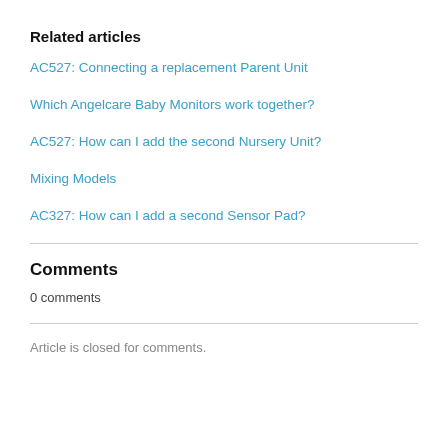Related articles
AC527: Connecting a replacement Parent Unit
Which Angelcare Baby Monitors work together?
AC527: How can I add the second Nursery Unit?
Mixing Models
AC327: How can I add a second Sensor Pad?
Comments
0 comments
Article is closed for comments.